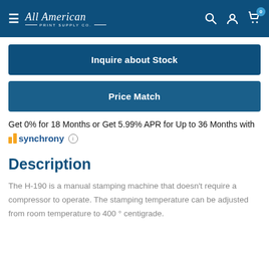All American Print Supply Co.
Inquire about Stock
Price Match
Get 0% for 18 Months or Get 5.99% APR for Up to 36 Months with synchrony
Description
The H-190 is a manual stamping machine that doesn't require a compressor to operate. The stamping temperature can be adjusted from room temperature to 400 ° centigrade.